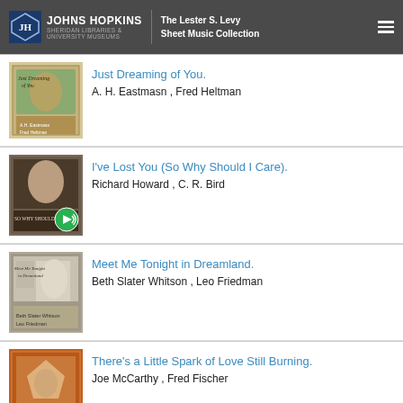Johns Hopkins Sheridan Libraries & University Museums — The Lester S. Levy Sheet Music Collection
[Figure (screenshot): Sheet music cover for 'Just Dreaming of You']
Just Dreaming of You.
A. H. Eastmasn , Fred Heltman
[Figure (screenshot): Sheet music cover for 'I've Lost You (So Why Should I Care)']
I've Lost You (So Why Should I Care).
Richard Howard , C. R. Bird
[Figure (screenshot): Sheet music cover for 'Meet Me Tonight in Dreamland']
Meet Me Tonight in Dreamland.
Beth Slater Whitson , Leo Friedman
[Figure (screenshot): Sheet music cover for 'There's a Little Spark of Love Still Burning']
There's a Little Spark of Love Still Burning.
Joe McCarthy , Fred Fischer